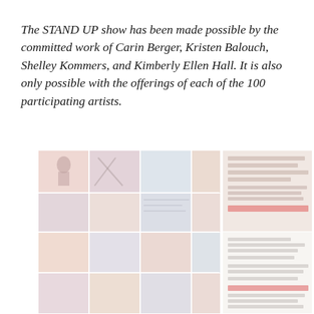The STAND UP show has been made possible by the committed work of Carin Berger, Kristen Balouch, Shelley Kommers, and Kimberly Ellen Hall. It is also only possible with the offerings of each of the 100 participating artists.
[Figure (illustration): A faded collage of artwork posters and prints arranged in a grid, with a lighter panel on the right containing event/exhibition text. The overall appearance is washed-out/low-opacity pinkish-red and blue tones.]